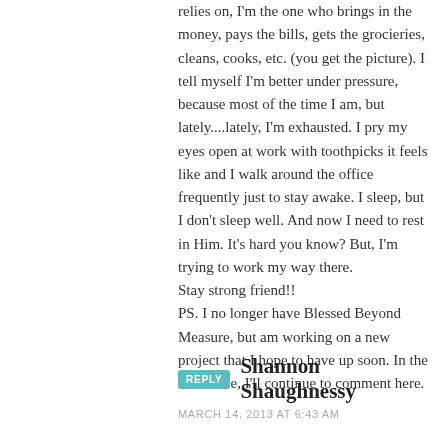relies on, I'm the one who brings in the money, pays the bills, gets the grocieries, cleans, cooks, etc. (you get the picture). I tell myself I'm better under pressure, because most of the time I am, but lately....lately, I'm exhausted. I pry my eyes open at work with toothpicks it feels like and I walk around the office frequently just to stay awake. I sleep, but I don't sleep well. And now I need to rest in Him. It's hard you know? But, I'm trying to work my way there.
Stay strong friend!!
PS. I no longer have Blessed Beyond Measure, but am working on a new project that I hope to have up soon. In the meantime, I'll continue to comment here.
REPLY
Shannon Shaughnessy
MARCH 14, 2013 AT 6:43 AM